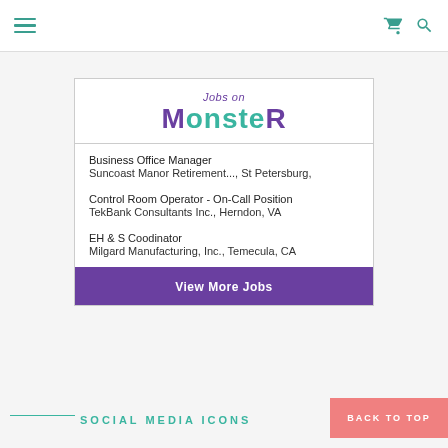Navigation bar with hamburger menu and share/search icons
[Figure (logo): Jobs on Monster logo widget with job listings]
Business Office Manager
Suncoast Manor Retirement..., St Petersburg,
Control Room Operator - On-Call Position
TekBank Consultants Inc., Herndon, VA
EH & S Coodinator
Milgard Manufacturing, Inc., Temecula, CA
View More Jobs
SOCIAL MEDIA ICONS
BACK TO TOP